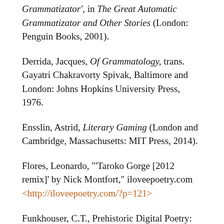Grammatizator', in The Great Automatic Grammatizator and Other Stories (London: Penguin Books, 2001).
Derrida, Jacques, Of Grammatology, trans. Gayatri Chakravorty Spivak, Baltimore and London: Johns Hopkins University Press, 1976.
Ensslin, Astrid, Literary Gaming (London and Cambridge, Massachusetts: MIT Press, 2014).
Flores, Leonardo, "'Taroko Gorge [2012 remix]' by Nick Montfort," iloveepoetry.com <http://iloveepoetry.com/?p=121>
Funkhouser, C.T., Prehistoric Digital Poetry: An Archaeology of Forms...